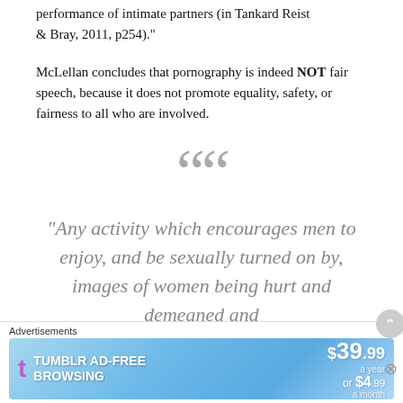performance of intimate partners (in Tankard Reist & Bray, 2011, p254)."
McLellan concludes that pornography is indeed NOT fair speech, because it does not promote equality, safety, or fairness to all who are involved.
[Figure (other): Large decorative opening quotation mark in gray]
“Any activity which encourages men to enjoy, and be sexually turned on by, images of women being hurt and demeaned and
Advertisements
[Figure (other): Tumblr Ad-Free Browsing advertisement banner: $39.99 a year or $4.99 a month]